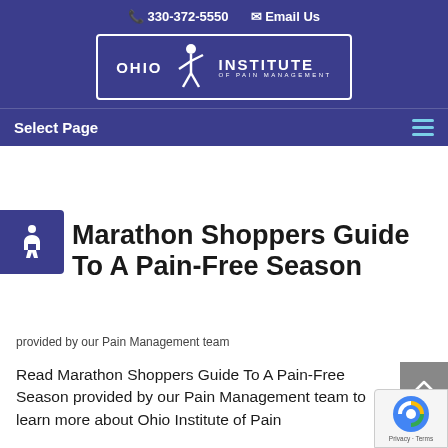330-372-5550  Email Us
[Figure (logo): Ohio Institute of Pain Management logo with stylized figure and bordered rectangular text layout]
Select Page
[Figure (illustration): Wheelchair accessibility icon on blue background square]
Marathon Shoppers Guide To A Pain-Free Season
provided by our Pain Management team
Read Marathon Shoppers Guide To A Pain-Free Season provided by our Pain Management team to learn more about Ohio Institute of Pain